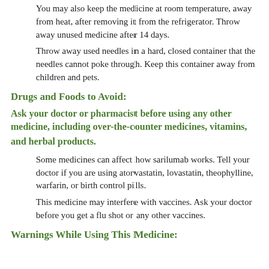You may also keep the medicine at room temperature, away from heat, after removing it from the refrigerator. Throw away unused medicine after 14 days.
Throw away used needles in a hard, closed container that the needles cannot poke through. Keep this container away from children and pets.
Drugs and Foods to Avoid:
Ask your doctor or pharmacist before using any other medicine, including over-the-counter medicines, vitamins, and herbal products.
Some medicines can affect how sarilumab works. Tell your doctor if you are using atorvastatin, lovastatin, theophylline, warfarin, or birth control pills.
This medicine may interfere with vaccines. Ask your doctor before you get a flu shot or any other vaccines.
Warnings While Using This Medicine: